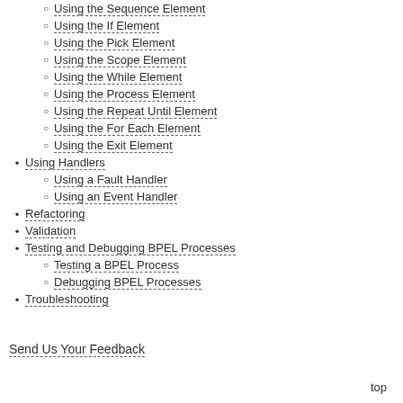Using the Sequence Element
Using the If Element
Using the Pick Element
Using the Scope Element
Using the While Element
Using the Process Element
Using the Repeat Until Element
Using the For Each Element
Using the Exit Element
Using Handlers
Using a Fault Handler
Using an Event Handler
Refactoring
Validation
Testing and Debugging BPEL Processes
Testing a BPEL Process
Debugging BPEL Processes
Troubleshooting
Send Us Your Feedback
top